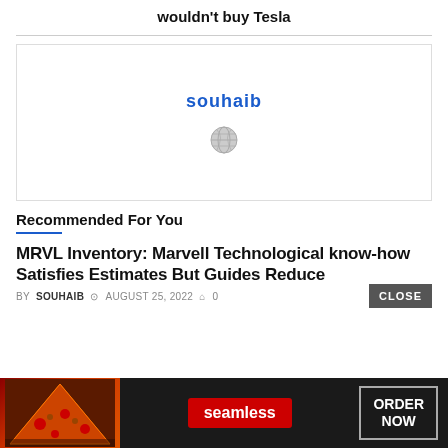wouldn't buy Tesla
[Figure (other): Advertisement box with 'souhaib' text in blue and a small globe-like icon below]
Recommended For You
MRVL Inventory: Marvell Technological know-how Satisfies Estimates But Guides Reduce
BY SOUHAIB  AUGUST 25, 2022  0
[Figure (photo): Bottom advertisement banner for Seamless food ordering with pizza image, Seamless logo in red, and ORDER NOW button]